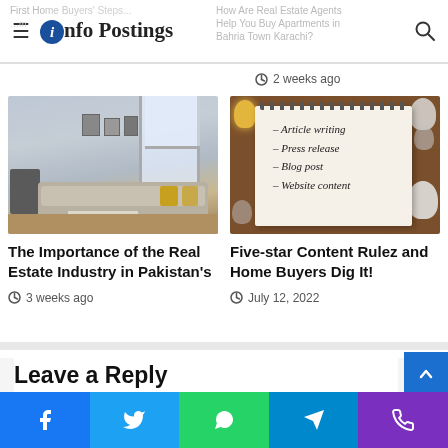Info Postings
2 weeks ago
[Figure (photo): Interior photo of a modern living room with sofa, coffee table, and large window]
The Importance of the Real Estate Industry in Pakistan's
3 weeks ago
[Figure (photo): Notepad with handwritten list: Article writing, Press release, Blog post, Website content, surrounded by light bulbs on wooden table]
Five-star Content Rulez and Home Buyers Dig It!
July 12, 2022
Leave a Reply